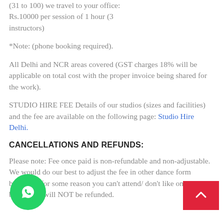(31 to 100) we travel to your office: Rs.10000 per session of 1 hour (3 instructors)
*Note: (phone booking required).
All Delhi and NCR areas covered (GST charges 18% will be applicable on total cost with the proper invoice being shared for the work).
STUDIO HIRE FEE Details of our studios (sizes and facilities) and the fee are available on the following page: Studio Hire Delhi.
CANCELLATIONS AND REFUNDS:
Please note: Fee once paid is non-refundable and non-adjustable.
We would do our best to adjust the fee in other dance form batches if for some reason you can't attend/ don't like one batch, but the fee will NOT be refunded.